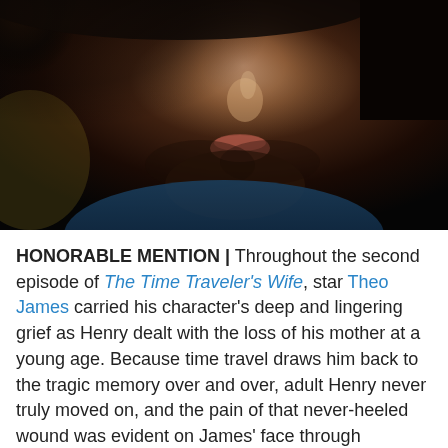[Figure (photo): Close-up dark photo of a man's face (Theo James) from nose down, with dark curly hair, stubble, and moist skin against a dark blurred background.]
HONORABLE MENTION | Throughout the second episode of The Time Traveler's Wife, star Theo James carried his character's deep and lingering grief as Henry dealt with the loss of his mother at a young age. Because time travel draws him back to the tragic memory over and over, adult Henry never truly moved on, and the pain of that never-heeled wound was evident on James' face through countless moments. The actor was especially moving in the final scene, when Henry and Clare listened to an audio recording of his mother answering a question